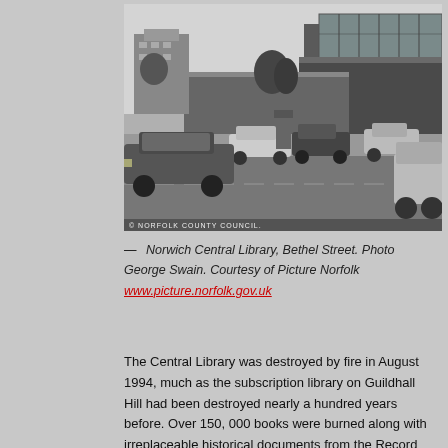[Figure (photo): Black and white photograph of Norwich Central Library on Bethel Street, showing a modernist building with a glass-fronted upper floor. Cars from the 1970s are parked and driving in the foreground. A copyright watermark reads '© NORFOLK COUNTY COUNCIL.' at the bottom left.]
— Norwich Central Library, Bethel Street. Photo George Swain. Courtesy of Picture Norfolk www.picture.norfolk.gov.uk
The Central Library was destroyed by fire in August 1994, much as the subscription library on Guildhall Hill had been destroyed nearly a hundred years before. Over 150, 000 books were burned along with irreplaceable historical documents from the Record